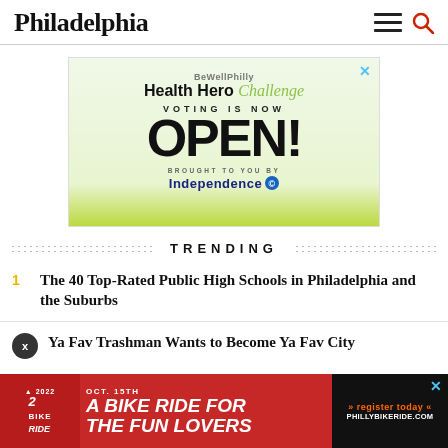Philadelphia
[Figure (infographic): BeWellPhilly Health Hero Challenge advertisement. Text reads: VOTING IS NOW OPEN! Brought to you by Independence. Green/white background with yellow-green footer strip.]
TRENDING
1 The 40 Top-Rated Public High Schools in Philadelphia and the Suburbs
Ya Fav Trashman Wants to Become Ya Fav City
[Figure (infographic): Advertisement: OCT. 15TH A BIKE RIDE FOR THE FUN LOVERS. Register today. PHILLYBIKERIDE.COM. Red background with bike ride logo on left and dark right panel.]